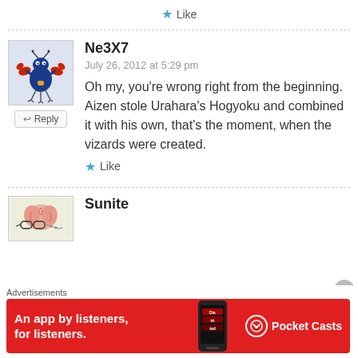★ Like
Ne3X7
July 26, 2012 at 5:29 pm
Oh my, you're wrong right from the beginning. Aizen stole Urahara's Hogyoku and combined it with his own, that's the moment, when the vizards were created.
★ Like
Sunite
Advertisements
An app by listeners, for listeners. Pocket Casts